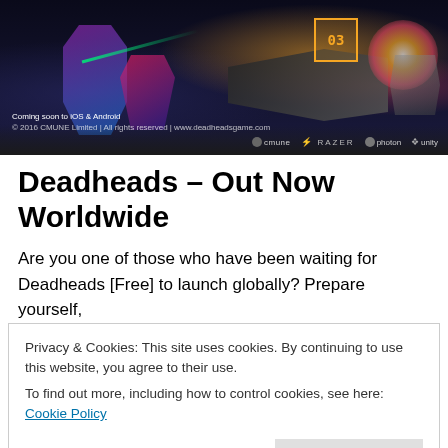[Figure (screenshot): Game screenshot banner showing robotic characters, a first-person gun view, explosions, and sponsor logos including CMUNE, RAZER, Photon, Unity. Text reads 'Coming soon to iOS & Android'. Bottom shows copyright and website.]
Deadheads – Out Now Worldwide
Are you one of those who have been waiting for Deadheads [Free] to launch globally? Prepare yourself,
Privacy & Cookies: This site uses cookies. By continuing to use this website, you agree to their use.
To find out more, including how to control cookies, see here: Cookie Policy
Close and accept
May 23, 2017   Leave a Reply